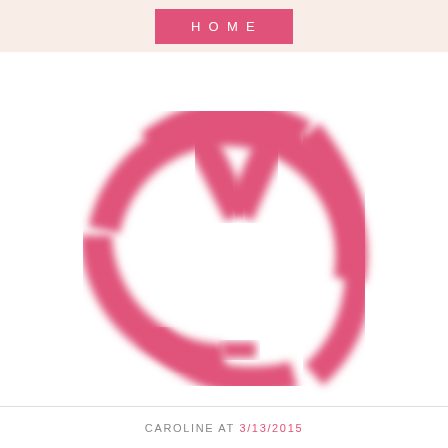HOME
[Figure (logo): Pink circular monogram logo with letters C, Y, H in an interlocking circle monogram style, hot pink color on white background]
CAROLINE AT 3/13/2015